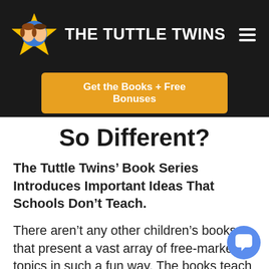THE TUTTLE TWINS
Get the Books + Free Bonuses
So Different?
The Tuttle Twins' Book Series Introduces Important Ideas That Schools Don't Teach.
There aren't any other children's books that present a vast array of free-market topics in such a fun way. The books teach relevant freedom-based concepts that most of us were never taught as kids. But it's not too late!